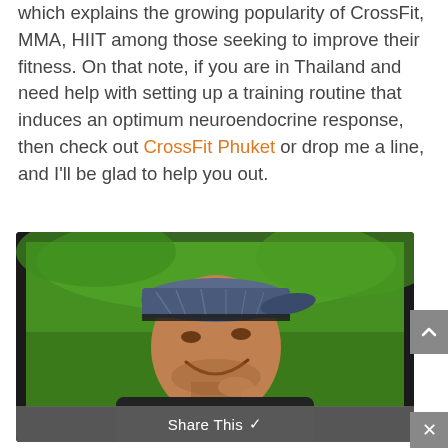which explains the growing popularity of CrossFit, MMA, HIIT among those seeking to improve their fitness. On that note, if you are in Thailand and need help with setting up a training routine that induces an optimum neuroendocrine response, then check out CrossFit Phuket or drop me a line, and I'll be glad to help you out.
[Figure (photo): A man wearing a backwards cap, smiling, photographed outdoors with a green background. Dark-framed image with a 'Share This' overlay bar at the bottom.]